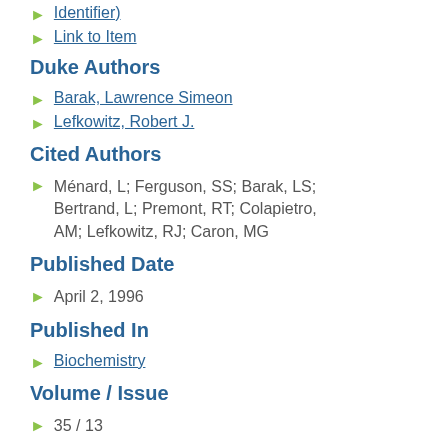Identifier)
Link to Item
Duke Authors
Barak, Lawrence Simeon
Lefkowitz, Robert J.
Cited Authors
Ménard, L; Ferguson, SS; Barak, LS; Bertrand, L; Premont, RT; Colapietro, AM; Lefkowitz, RJ; Caron, MG
Published Date
April 2, 1996
Published In
Biochemistry
Volume / Issue
35 / 13